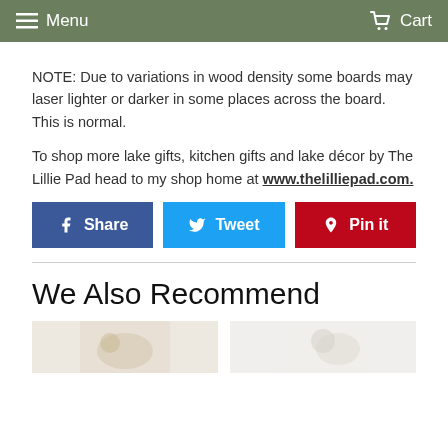Menu   Cart
NOTE: Due to variations in wood density some boards may laser lighter or darker in some places across the board. This is normal.
To shop more lake gifts, kitchen gifts and lake décor by The Lillie Pad head to my shop home at www.thelilliepad.com.
[Figure (other): Social sharing buttons: Facebook Share, Twitter Tweet, Pinterest Pin it]
We Also Recommend
[Figure (photo): Two partially visible product photos at the bottom of the page]